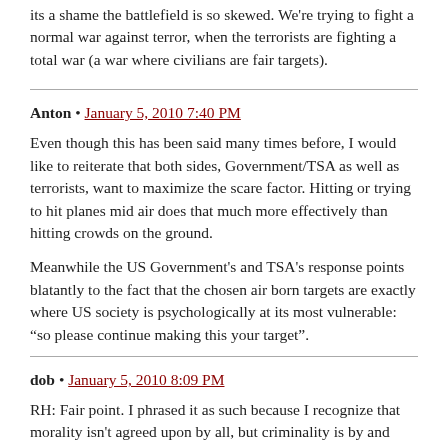its a shame the battlefield is so skewed. We're trying to fight a normal war against terror, when the terrorists are fighting a total war (a war where civilians are fair targets).
Anton • January 5, 2010 7:40 PM
Even though this has been said many times before, I would like to reiterate that both sides, Government/TSA as well as terrorists, want to maximize the scare factor. Hitting or trying to hit planes mid air does that much more effectively than hitting crowds on the ground.

Meanwhile the US Government's and TSA's response points blatantly to the fact that the chosen air born targets are exactly where US society is psychologically at its most vulnerable: “so please continue making this your target”.
dob • January 5, 2010 8:09 PM
RH: Fair point. I phrased it as such because I recognize that morality isn't agreed upon by all, but criminality is by and large cut and dried.